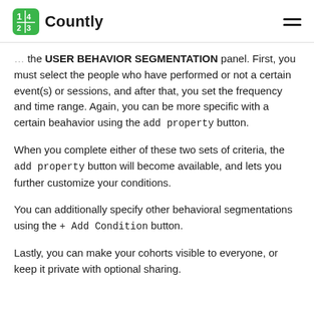Countly
the USER BEHAVIOR SEGMENTATION panel. First, you must select the people who have performed or not a certain event(s) or sessions, and after that, you set the frequency and time range. Again, you can be more specific with a certain beahavior using the add property button.
When you complete either of these two sets of criteria, the add property button will become available, and lets you further customize your conditions.
You can additionally specify other behavioral segmentations using the + Add Condition button.
Lastly, you can make your cohorts visible to everyone, or keep it private with optional sharing.